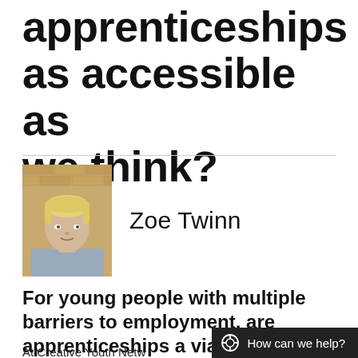apprenticeships as accessible as we think?
[Figure (photo): Headshot photo of Zoe Twinn, a woman with short blonde hair wearing a grey shirt, against a brick wall background]
Zoe Twinn
For young people with multiple barriers to employment, are apprenticeships a viable option?
At Creative Youth Netw
How can we help?